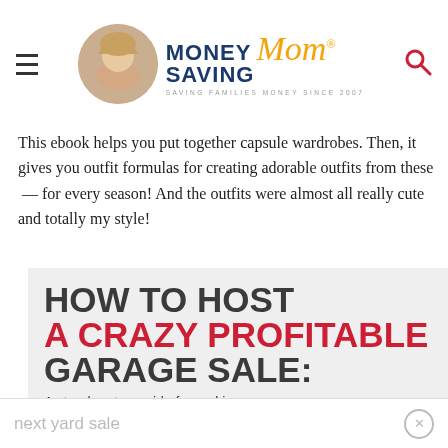Money Saving Mom® — SAVING FAMILIES MONEY SINCE 2007
This ebook helps you put together capsule wardrobes. Then, it gives you outfit formulas for creating adorable outfits from these  — for every season! And the outfits were almost all really cute and totally my style!
[Figure (illustration): Promotional book cover graphic for 'How to Host a Crazy Profitable Garage Sale: A step-by-step guide for making the most money from your next yard sale' on a light gray background]
next yard sale